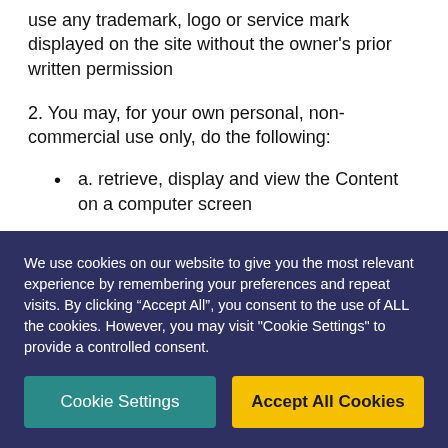use any trademark, logo or service mark displayed on the site without the owner's prior written permission
2. You may, for your own personal, non-commercial use only, do the following:
a. retrieve, display and view the Content on a computer screen
b. download and store the Content in electronic form on a disk (but not on any
We use cookies on our website to give you the most relevant experience by remembering your preferences and repeat visits. By clicking “Accept All”, you consent to the use of ALL the cookies. However, you may visit "Cookie Settings" to provide a controlled consent.
Cookie Settings
Accept All Cookies